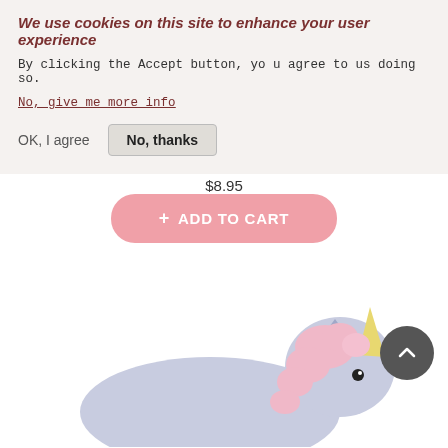We use cookies on this site to enhance your user experience
By clicking the Accept button, you agree to us doing so.
No, give me more info
OK, I agree
No, thanks
$8.95
+ ADD TO CART
[Figure (photo): A pastel unicorn toy figurine with pink mane and yellow horn, light purple/lavender body, photographed from the side]